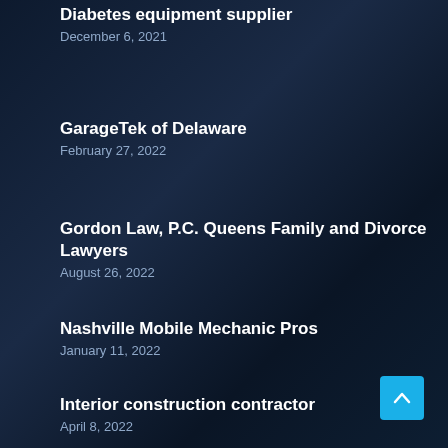Diabetes equipment supplier
December 6, 2021
GarageTek of Delaware
February 27, 2022
Gordon Law, P.C. Queens Family and Divorce Lawyers
August 26, 2022
Nashville Mobile Mechanic Pros
January 11, 2022
Interior construction contractor
April 8, 2022